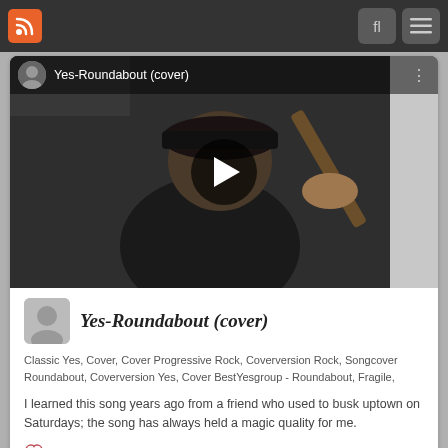RSS feed | Search | Menu
[Figure (screenshot): YouTube-style video thumbnail showing a person in a black cap playing guitar, with the title 'Yes-Roundabout (cover)' in the top bar and a play button overlay in the center.]
Yes-Roundabout (cover)
Classic Yes, Cover, Cover Progressive Rock, Coverversion Rock, Songcover Roundabout, Coverversion Yes, Cover BestYesgroup - Roundabout, Fragile,
I learned this song years ago from a friend who used to busk uptown on Saturdays; the song has always held a magic quality for me.
♡ 0